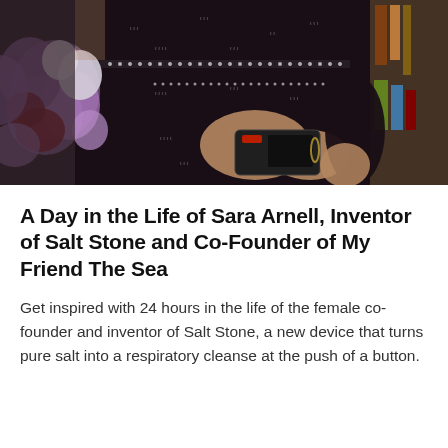[Figure (photo): A woman wearing a dark black patterned dress with white embroidery trim, holding a smartphone. Purple and white flowers are visible in the foreground on the left. A bookshelf is visible in the background.]
A Day in the Life of Sara Arnell, Inventor of Salt Stone and Co-Founder of My Friend The Sea
Get inspired with 24 hours in the life of the female co-founder and inventor of Salt Stone, a new device that turns pure salt into a respiratory cleanse at the push of a button.